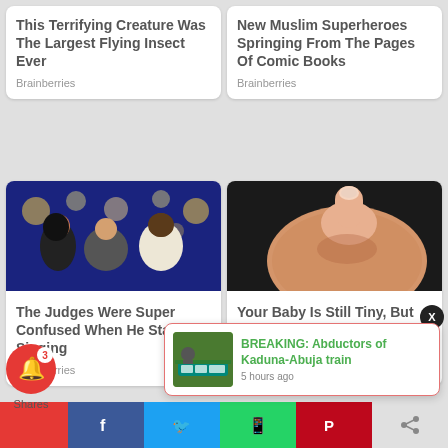This Terrifying Creature Was The Largest Flying Insect Ever
Brainberries
New Muslim Superheroes Springing From The Pages Of Comic Books
Brainberries
[Figure (photo): Three people on a TV show stage, two men and a woman, judges on a talent show]
[Figure (photo): Close-up photo of a hand pressing on skin, medical/health related image]
The Judges Were Super Confused When He Started Singing
Brainberries
Your Baby Is Still Tiny, But Already Your Body Is Changing
BREAKING: Abductors of Kaduna-Abuja train
5 hours ago